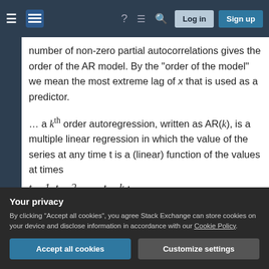Stack Exchange navigation bar with hamburger menu, logo, help, chat, search icons, Log in and Sign up buttons
number of non-zero partial autocorrelations gives the order of the AR model. By the "order of the model" we mean the most extreme lag of x that is used as a predictor.
... a k^th order autoregression, written as AR(k), is a multiple linear regression in which the value of the series at any time t is a (linear) function of the values at times t − 1, t − 2, . . . , t − k :
Your privacy
By clicking "Accept all cookies", you agree Stack Exchange can store cookies on your device and disclose information in accordance with our Cookie Policy.